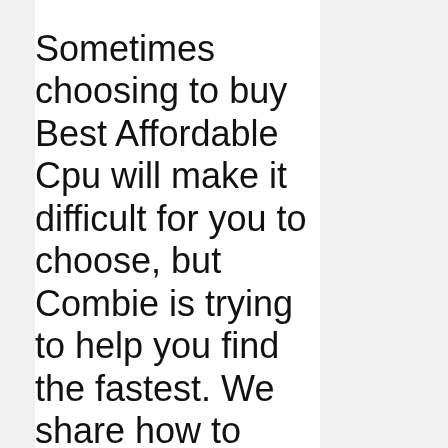Sometimes choosing to buy Best Affordable Cpu will make it difficult for you to choose, but Combie is trying to help you find the fastest. We share how to choose to buy Best Affordable Cpu with the most objective and honest reviews. As you start shopping for Best